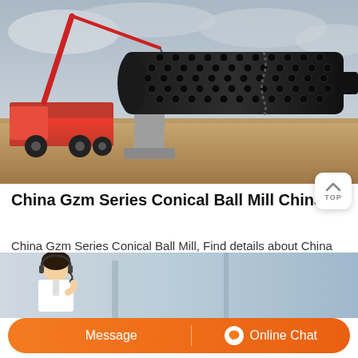[Figure (photo): Large black conical ball mill machine lying horizontally on a concrete pillar at a construction/industrial site, with a red crane truck visible on the left side, under a cloudy sky. Sand and rubble on the ground.]
China Gzm Series Conical Ball Mill China Ball Mill P...
China Gzm Series Conical Ball Mill, Find details about China Ball Mill Price, Wet Ball Mill from Gzm Series Conical Ball Mill - Yantai Fulin Mining Machinery Co., Ltd.
[Figure (photo): Bottom strip showing partial industrial site background with a customer service representative avatar on the left side, and an orange rounded call-to-action bar reading 'Message' and 'Online Chat']